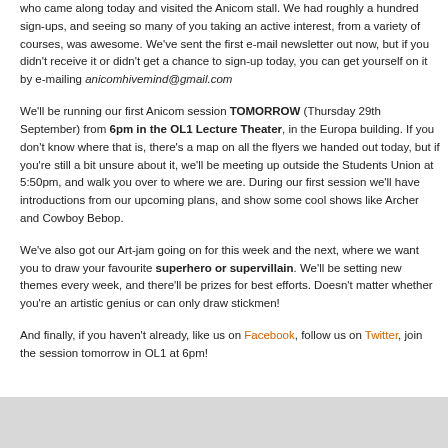who came along today and visited the Anicom stall. We had roughly a hundred sign-ups, and seeing so many of you taking an active interest, from a variety of courses, was awesome. We've sent the first e-mail newsletter out now, but if you didn't receive it or didn't get a chance to sign-up today, you can get yourself on it by e-mailing anicomhivemind@gmail.com
We'll be running our first Anicom session TOMORROW (Thursday 29th September) from 6pm in the OL1 Lecture Theater, in the Europa building. If you don't know where that is, there's a map on all the flyers we handed out today, but if you're still a bit unsure about it, we'll be meeting up outside the Students Union at 5:50pm, and walk you over to where we are. During our first session we'll have introductions from our upcoming plans, and show some cool shows like Archer and Cowboy Bebop.
We've also got our Art-jam going on for this week and the next, where we want you to draw your favourite superhero or supervillain. We'll be setting new themes every week, and there'll be prizes for best efforts. Doesn't matter whether you're an artistic genius or can only draw stickmen!
And finally, if you haven't already, like us on Facebook, follow us on Twitter, join the session tomorrow in OL1 at 6pm!